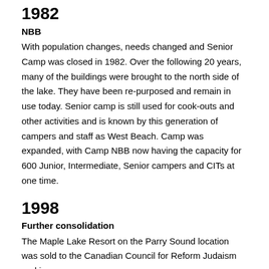1982
NBB
With population changes, needs changed and Senior Camp was closed in 1982. Over the following 20 years, many of the buildings were brought to the north side of the lake. They have been re-purposed and remain in use today. Senior camp is still used for cook-outs and other activities and is known by this generation of campers and staff as West Beach. Camp was expanded, with Camp NBB now having the capacity for 600 Junior, Intermediate, Senior campers and CITs at one time.
1998
Further consolidation
The Maple Lake Resort on the Parry Sound location was sold to the Canadian Council for Reform Judaism and is